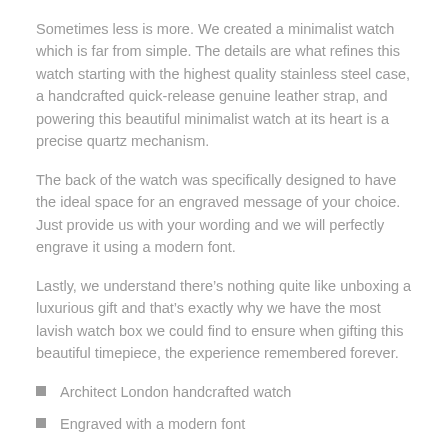Sometimes less is more. We created a minimalist watch which is far from simple. The details are what refines this watch starting with the highest quality stainless steel case, a handcrafted quick-release genuine leather strap, and powering this beautiful minimalist watch at its heart is a precise quartz mechanism.
The back of the watch was specifically designed to have the ideal space for an engraved message of your choice. Just provide us with your wording and we will perfectly engrave it using a modern font.
Lastly, we understand there’s nothing quite like unboxing a luxurious gift and that’s exactly why we have the most lavish watch box we could find to ensure when gifting this beautiful timepiece, the experience remembered forever.
Architect London handcrafted watch
Engraved with a modern font
Quartz movement (accurate within 8 seconds per month)